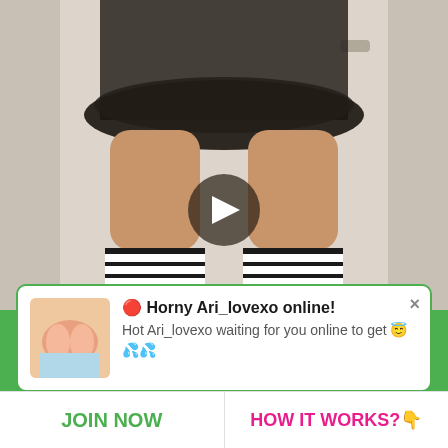[Figure (photo): Photo of a person wearing a black tutu skirt and black-and-white striped knee-high socks, leaning forward near a white door. A circular play button overlay is centered on the image.]
🔴 Horny Ari_lovexo online!
Hot Ari_lovexo waiting for you online to get 😇💦💦
JOIN NOW
HOW IT WORKS?👇